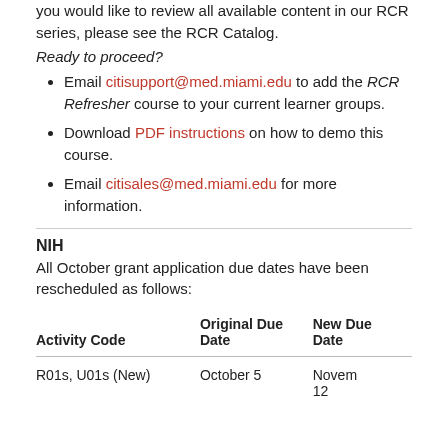you would like to review all available content in our RCR series, please see the RCR Catalog.
Ready to proceed?
Email citisupport@med.miami.edu to add the RCR Refresher course to your current learner groups.
Download PDF instructions on how to demo this course.
Email citisales@med.miami.edu for more information.
NIH
All October grant application due dates have been rescheduled as follows:
| Activity Code | Original Due Date | New Due Date |
| --- | --- | --- |
| R01s, U01s (New) | October 5 | November 12 |